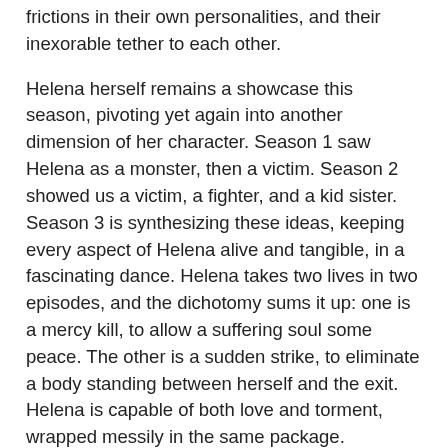frictions in their own personalities, and their inexorable tether to each other.
Helena herself remains a showcase this season, pivoting yet again into another dimension of her character. Season 1 saw Helena as a monster, then a victim. Season 2 showed us a victim, a fighter, and a kid sister. Season 3 is synthesizing these ideas, keeping every aspect of Helena alive and tangible, in a fascinating dance. Helena takes two lives in two episodes, and the dichotomy sums it up: one is a mercy kill, to allow a suffering soul some peace. The other is a sudden strike, to eliminate a body standing between herself and the exit. Helena is capable of both love and torment, wrapped messily in the same package.
Not only this, but Helena's actions tell us more: she betrays Sarah, because Sarah betrayed her. Helena has been caged for much of her life, and brainwashed to recite the lines of an institution. In Season 1, she acted for the Proletheans. In Season 2, she acted for Sarah - her family. Helena's connection to her sisters is a driving force for the character, but her role as watchdog and protector is not a huge...